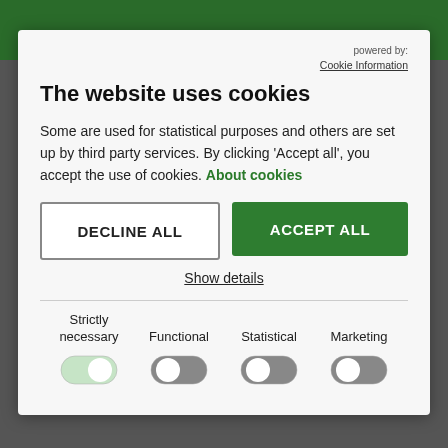powered by: Cookie Information
The website uses cookies
Some are used for statistical purposes and others are set up by third party services. By clicking 'Accept all', you accept the use of cookies. About cookies
DECLINE ALL
ACCEPT ALL
Show details
Strictly necessary
Functional
Statistical
Marketing